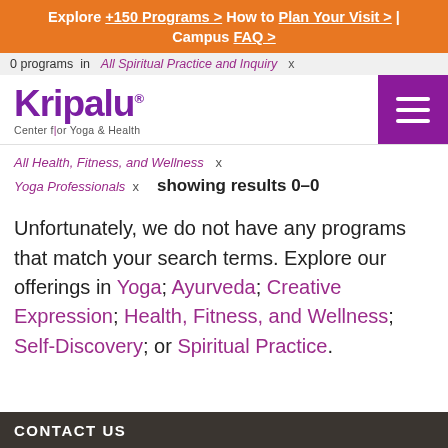Explore +150 Programs > How to Plan Your Visit > | Campus FAQ >
0 programs in All Spiritual Practice and Inquiry x
[Figure (logo): Kripalu Center for Yoga & Health logo with purple wordmark]
All Health, Fitness, and Wellness x
Yoga Professionals x   showing results 0–0
Unfortunately, we do not have any programs that match your search terms. Explore our offerings in Yoga; Ayurveda; Creative Expression; Health, Fitness, and Wellness; Self-Discovery; or Spiritual Practice.
CONTACT US